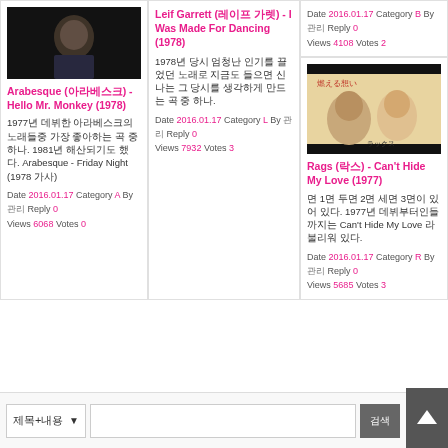[Figure (photo): Photo of a performer on stage, dark background]
Arabesque (아라베스크) - Hello Mr. Monkey (1978)
1977년 데뷔한 아라베스크의 노래들중 가장 좋아하는 곡 중 하나. 1981년 해산되기도 했다. Arabesque - Friday Night (1978 가사)
Date 2016.01.17  Category A  By 관리자  Reply 0  Views 6068  Votes 0
Leif Garrett (레이프 가렛) - I Was Made For Dancing (1978)
1978년 당시 엄청난 인기를 끌었던 노래로 지금도 들으면 신나는 그 당시를 생각하게 만드는 곡 중 하나.
Date 2016.01.17  Category L  By 관리자  Reply 0  Views 7932  Votes 3
Date 2016.01.17  Category B  By 관리자  Reply 0  Views 4108  Votes 2
[Figure (photo): Album cover for Rags - Can't Hide My Love (1977), Japanese edition with two people on cover]
Rags (락스) - Can't Hide My Love (1977)
면 1면 두면 2면 세면 3면이 있어 있다. 1977년 데뷔부터인들까지는 Can't Hide My Love 라 불리워 있다.
Date 2016.01.17  Category R  By 관리자  Reply 0  Views 5685  Votes 3